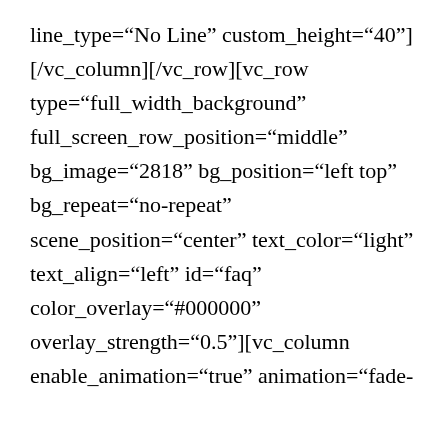line_type="No Line" custom_height="40"] [/vc_column][/vc_row][vc_row type="full_width_background" full_screen_row_position="middle" bg_image="2818" bg_position="left top" bg_repeat="no-repeat" scene_position="center" text_color="light" text_align="left" id="faq" color_overlay="#000000" overlay_strength="0.5"][vc_column enable_animation="true" animation="fade-